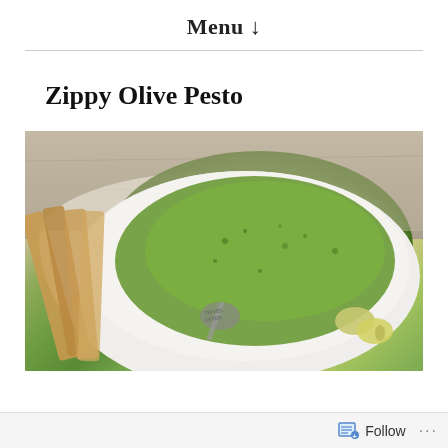Menu ↓
Zippy Olive Pesto
[Figure (photo): A white bowl filled with green olive pesto, accompanied by toasted bread sticks on the side and whole green olives, with a spoon engraved 'TRAVEL OFTEN' resting in the pesto. Shot from above on a stone surface.]
Follow ...